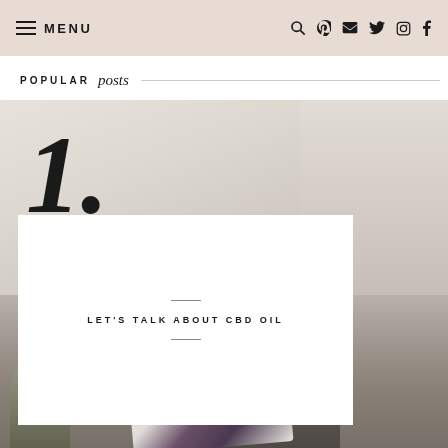MENU
POPULAR posts
[Figure (photo): Blog website screenshot showing navigation header with MENU and social icons, a 'POPULAR posts' section header, a large italic numeral '1.' overlaid on a lifestyle photo of a woman reading a book/magazine in a bright white interior setting]
LET'S TALK ABOUT CBD OIL